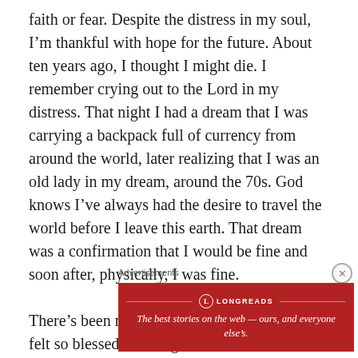faith or fear. Despite the distress in my soul, I’m thankful with hope for the future. About ten years ago, I thought I might die. I remember crying out to the Lord in my distress. That night I had a dream that I was carrying a backpack full of currency from around the world, later realizing that I was an old lady in my dream, around the 70s. God knows I’ve always had the desire to travel the world before I leave this earth. That dream was a confirmation that I would be fine and soon after, physically, I was fine.

There’s been many times in my life where I’ve felt so blessed, walking on clouds with everything working out for me, but life always has it’s storms, some that can driv…
Advertisements
[Figure (logo): Longreads advertisement banner in dark red with logo and tagline: The best stories on the web — ours, and everyone else’s.]